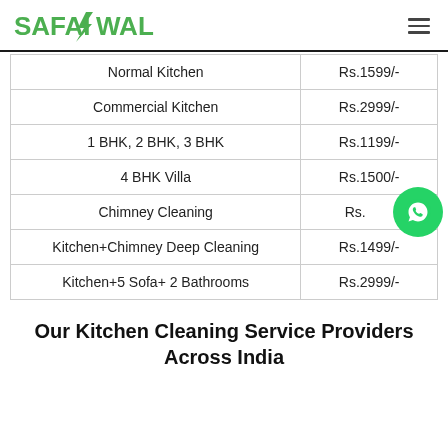SAFAIWALE
| Service | Price |
| --- | --- |
| Normal Kitchen | Rs.1599/- |
| Commercial Kitchen | Rs.2999/- |
| 1 BHK, 2 BHK, 3 BHK | Rs.1199/- |
| 4 BHK Villa | Rs.1500/- |
| Chimney Cleaning | Rs.[partially hidden] |
| Kitchen+Chimney Deep Cleaning | Rs.1499/- |
| Kitchen+5 Sofa+ 2 Bathrooms | Rs.2999/- |
Our Kitchen Cleaning Service Providers Across India